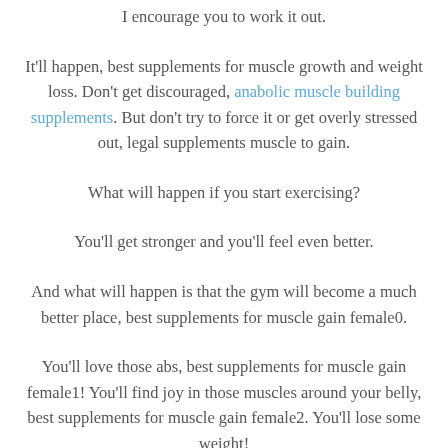I encourage you to work it out.
It'll happen, best supplements for muscle growth and weight loss. Don't get discouraged, anabolic muscle building supplements. But don't try to force it or get overly stressed out, legal supplements muscle to gain.
What will happen if you start exercising?
You'll get stronger and you'll feel even better.
And what will happen is that the gym will become a much better place, best supplements for muscle gain female0.
You'll love those abs, best supplements for muscle gain female1! You'll find joy in those muscles around your belly, best supplements for muscle gain female2. You'll lose some weight!